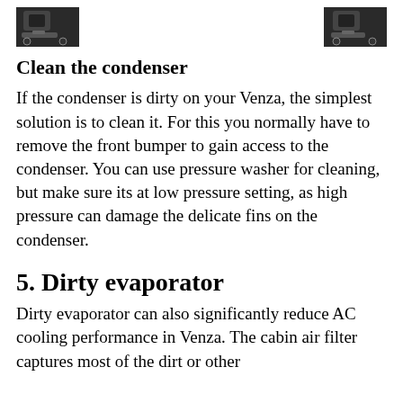[Figure (photo): Two partial photos of automotive components (condensers) shown at the top corners of the page, partially cropped]
Clean the condenser
If the condenser is dirty on your Venza, the simplest solution is to clean it. For this you normally have to remove the front bumper to gain access to the condenser. You can use pressure washer for cleaning, but make sure its at low pressure setting, as high pressure can damage the delicate fins on the condenser.
5. Dirty evaporator
Dirty evaporator can also significantly reduce AC cooling performance in Venza. The cabin air filter captures most of the dirt or other